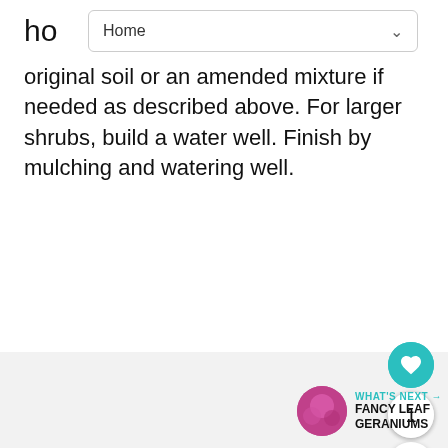ho   Home
original soil or an amended mixture if needed as described above. For larger shrubs, build a water well. Finish by mulching and watering well.
[Figure (photo): Gray placeholder image area]
1
WHAT'S NEXT → FANCY LEAF GERANIUMS